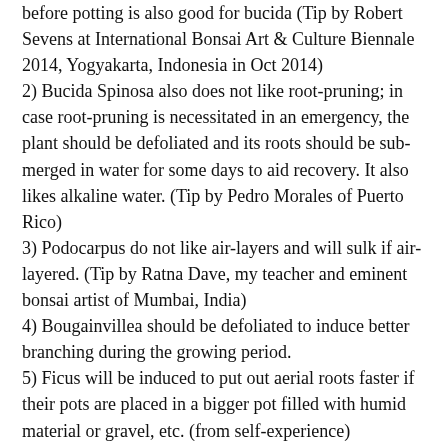before potting is also good for bucida (Tip by Robert Sevens at International Bonsai Art & Culture Biennale 2014, Yogyakarta, Indonesia in Oct 2014)
2) Bucida Spinosa also does not like root-pruning; in case root-pruning is necessitated in an emergency, the plant should be defoliated and its roots should be sub-merged in water for some days to aid recovery. It also likes alkaline water. (Tip by Pedro Morales of Puerto Rico)
3) Podocarpus do not like air-layers and will sulk if air-layered. (Tip by Ratna Dave, my teacher and eminent bonsai artist of Mumbai, India)
4) Bougainvillea should be defoliated to induce better branching during the growing period.
5) Ficus will be induced to put out aerial roots faster if their pots are placed in a bigger pot filled with humid material or gravel, etc. (from self-experience)
6) Some plants varieties, especially conifers do not bud on bare branches, but sometimes snapping a branch half-